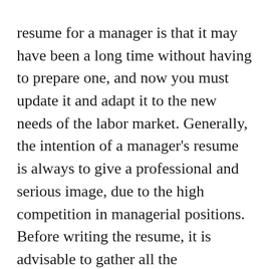resume for a manager is that it may have been a long time without having to prepare one, and now you must update it and adapt it to the new needs of the labor market. Generally, the intention of a manager's resume is always to give a professional and serious image, due to the high competition in managerial positions. Before writing the resume, it is advisable to gather all the information about working life and the necessary references. It is also necessary to consider the objective that is pursued with the resume and the jobs to which it is chosen since it is always advisable to adapt the resume to the company to which it is sent.
Once the questions before the development of the resume have been dealt with, it is time to write it and for this, it will be necessary to take certain